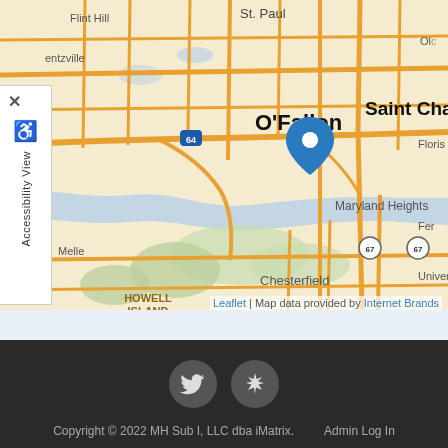[Figure (map): Street map centered on Saint Charles / O'Fallon area in Missouri, showing roads, rivers, and neighborhoods including Howell Island, Chesterfield, Maryland Heights, with a blue location pin marker near Saint Charles.]
Leaflet | Map data provided by Internet Brands
[Figure (other): Twitter bird icon in a circular gray button]
[Figure (other): Yelp burst icon in a circular gray button]
Copyright © 2022 MH Sub I, LLC dba iMatrix.    Admin Log In